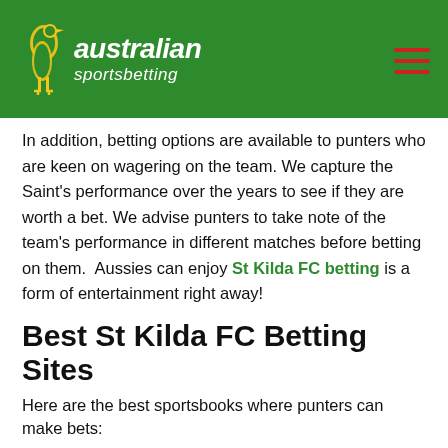Australian sportsbetting
In addition, betting options are available to punters who are keen on wagering on the team. We capture the Saint's performance over the years to see if they are worth a bet. We advise punters to take note of the team's performance in different matches before betting on them. Aussies can enjoy St Kilda FC betting is a form of entertainment right away!
Best St Kilda FC Betting Sites
Here are the best sportsbooks where punters can make bets:
[Figure (infographic): #1 ranked Unibet sportsbook card with Bet Now button, World-Class Sportsbook description, and Unibet Sportsbook link]